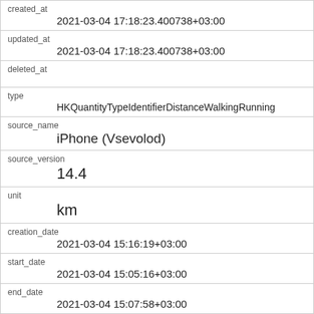| created_at | 2021-03-04 17:18:23.400738+03:00 |
| updated_at | 2021-03-04 17:18:23.400738+03:00 |
| deleted_at |  |
| type | HKQuantityTypeIdentifierDistanceWalkingRunning |
| source_name | iPhone (Vsevolod) |
| source_version | 14.4 |
| unit | km |
| creation_date | 2021-03-04 15:16:19+03:00 |
| start_date | 2021-03-04 15:05:16+03:00 |
| end_date | 2021-03-04 15:07:58+03:00 |